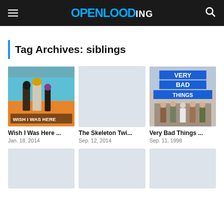OPENLOADING
Tag Archives: siblings
[Figure (photo): Movie poster for Wish I Was Here (2014) showing cast members with orange background and text 'WISH I WAS HERE']
[Figure (photo): Movie poster placeholder for The Skeleton Twins (light gray/blue background)]
[Figure (photo): Movie poster for Very Bad Things (1998) showing group of people in suits with blue block text 'VERY BAD THINGS']
Wish I Was Here ...
Jan. 18, 2014
The Skeleton Twi...
Sep. 12, 2014
Very Bad Things ...
Sep. 11, 1998
[Figure (photo): Placeholder poster (gray-blue) for fourth movie]
[Figure (photo): Placeholder poster (gray-blue) for fifth movie]
[Figure (photo): Placeholder poster (gray-blue) for sixth movie]